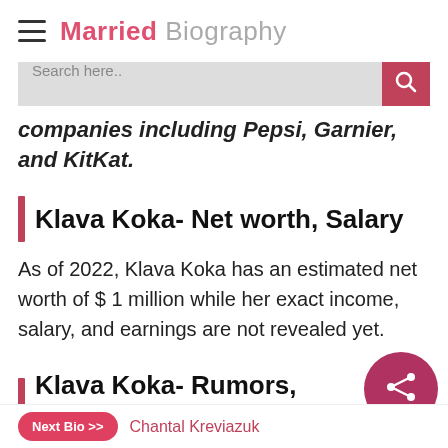Married Biography
Search here..
companies including Pepsi, Garnier, and KitKat.
Klava Koka- Net worth, Salary
As of 2022, Klava Koka has an estimated net worth of $ 1 million while her exact income, salary, and earnings are not revealed yet.
Klava Koka- Rumors, Controver…
Next Bio >> Chantal Kreviazuk